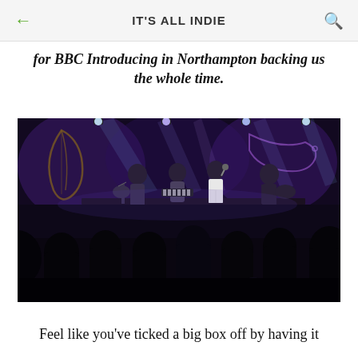IT'S ALL INDIE
for BBC Introducing in Northampton backing us the whole time.
[Figure (photo): A band performing on a dark stage with colourful purple and blue stage lighting, featuring multiple musicians including guitarists and a singer, with a crowd of silhouetted audience members in the foreground.]
Feel like you've ticked a big box off by having it